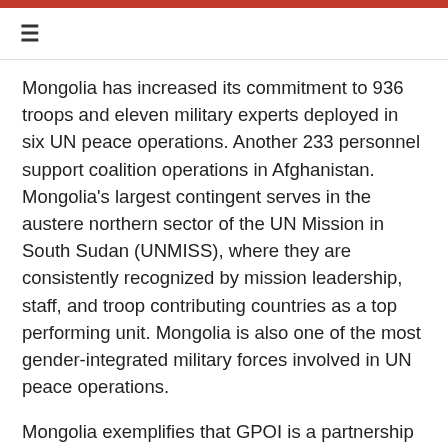≡
Mongolia has increased its commitment to 936 troops and eleven military experts deployed in six UN peace operations. Another 233 personnel support coalition operations in Afghanistan. Mongolia's largest contingent serves in the austere northern sector of the UN Mission in South Sudan (UNMISS), where they are consistently recognized by mission leadership, staff, and troop contributing countries as a top performing unit. Mongolia is also one of the most gender-integrated military forces involved in UN peace operations.
Mongolia exemplifies that GPOI is a partnership in which both countries are invested. In the last three years alone, Mongolia has spent over $10 million dollars of its own money in training center infrastructure improvements. The bureau has a more and GPOI for this is